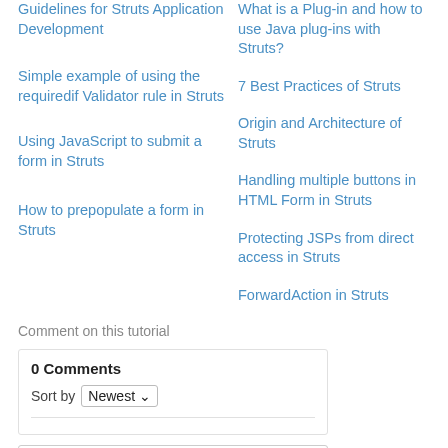Guidelines for Struts Application Development
What is a Plug-in and how to use Java plug-ins with Struts?
Simple example of using the requiredif Validator rule in Struts
7 Best Practices of Struts
Using JavaScript to submit a form in Struts
Origin and Architecture of Struts
How to prepopulate a form in Struts
Handling multiple buttons in HTML Form in Struts
Protecting JSPs from direct access in Struts
ForwardAction in Struts
Comment on this tutorial
0 Comments
Sort by Newest
Add a comment